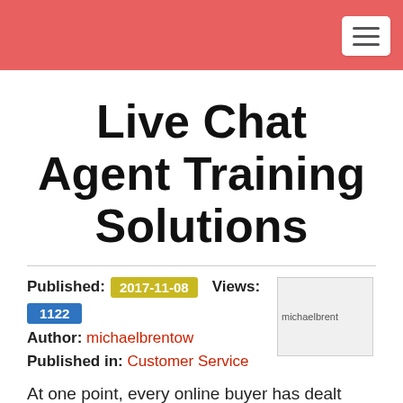Live Chat Agent Training Solutions
Published: 2017-11-08   Views: 1122
Author: michaelbrentow
Published in: Customer Service
At one point, every online buyer has dealt with a live chat agent. The experience was either positive or negative, as the agent did help by answering questions in an informative manner or was a robot that did not answer efficiently the...